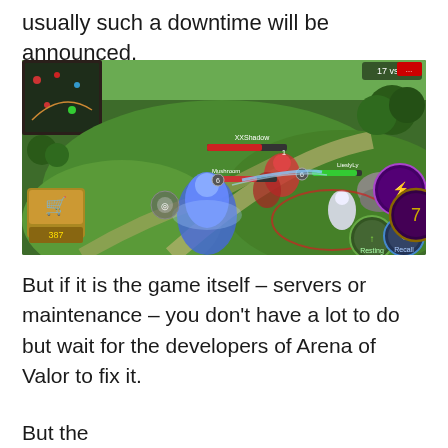usually such a downtime will be announced.
[Figure (screenshot): Screenshot of Arena of Valor mobile game showing characters in battle on a green map with game UI elements including health bars, ability icons, and minimap.]
But if it is the game itself – servers or maintenance – you don't have a lot to do but wait for the developers of Arena of Valor to fix it.
But the...